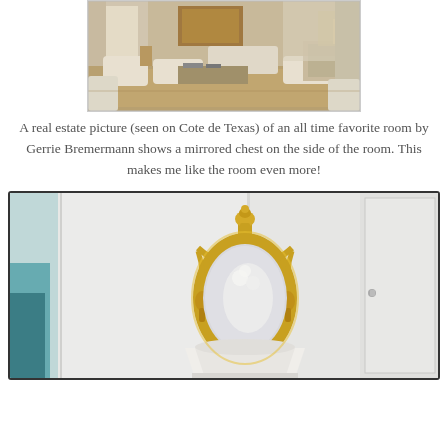[Figure (photo): Interior room photo showing an elegant living room with white sofas, a patterned rug, tall curtains, and a mirrored chest on the side. Real estate photo seen on Cote de Texas, designed by Gerrie Bremermann.]
A real estate picture (seen on Cote de Texas) of an all time favorite room by Gerrie Bremermann shows a mirrored chest on the side of the room. This makes me like the room even more!
[Figure (photo): Interior photo showing a white room with a decorative gold ornate oval mirror on the wall, a white lamp shade below it, and a glimpse of teal artwork on the left side.]